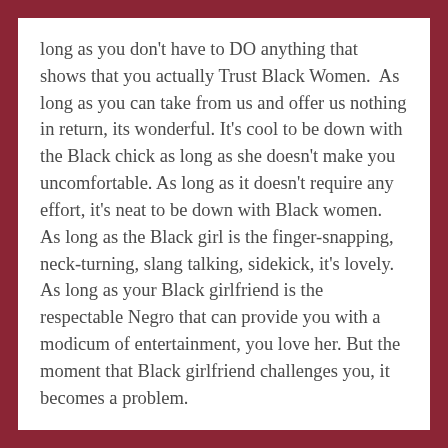long as you don't have to DO anything that shows that you actually Trust Black Women.  As long as you can take from us and offer us nothing in return, its wonderful. It's cool to be down with the Black chick as long as she doesn't make you uncomfortable. As long as it doesn't require any effort, it's neat to be down with Black women.  As long as the Black girl is the finger-snapping, neck-turning, slang talking, sidekick, it's lovely. As long as your Black girlfriend is the respectable Negro that can provide you with a modicum of entertainment, you love her. But the moment that Black girlfriend challenges you, it becomes a problem.